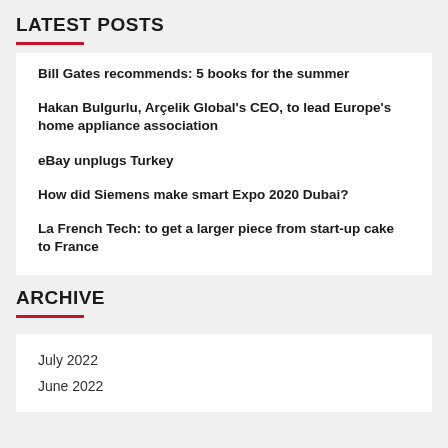LATEST POSTS
Bill Gates recommends: 5 books for the summer
Hakan Bulgurlu, Arçelik Global's CEO, to lead Europe's home appliance association
eBay unplugs Turkey
How did Siemens make smart Expo 2020 Dubai?
La French Tech: to get a larger piece from start-up cake to France
ARCHIVE
July 2022
June 2022